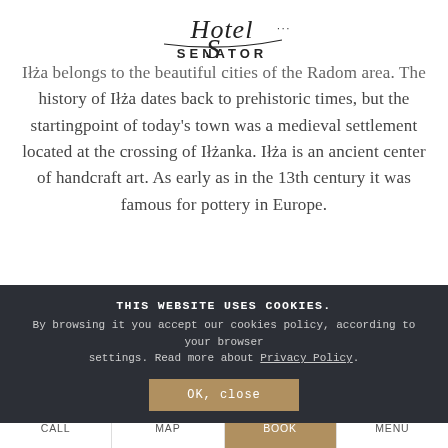Hotel Senator
Iłża belongs to the beautiful cities of the Radom area. The history of Iłża dates back to prehistoric times, but the startingpoint of today's town was a medieval settlement located at the crossing of Iłżanka. Iłża is an ancient center of handcraft art. As early as in the 13th century it was famous for pottery in Europe.
THIS WEBSITE USES COOKIES. By browsing it you accept our cookies policy, according to your browser settings. Read more about Privacy Policy.
OK, close
CALL   MAP   BOOK   MENU